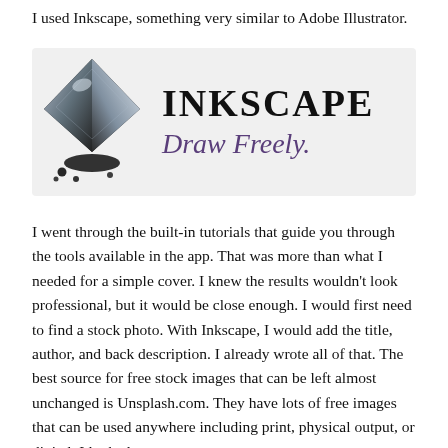I used Inkscape, something very similar to Adobe Illustrator.
[Figure (logo): Inkscape logo: a black ink drop / mountain shape on the left, with 'INKSCAPE' in large bold serif letters and 'Draw Freely.' in italic cursive below, on a light gray background.]
I went through the built-in tutorials that guide you through the tools available in the app. That was more than what I needed for a simple cover. I knew the results wouldn't look professional, but it would be close enough. I would first need to find a stock photo. With Inkscape, I would add the title, author, and back description. I already wrote all of that. The best source for free stock images that can be left almost unchanged is Unsplash.com. They have lots of free images that can be used anywhere including print, physical output, or digital. I looked